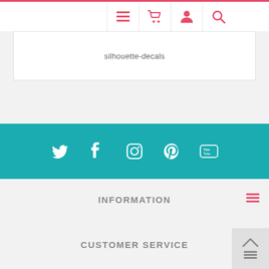Navigation bar with menu, cart, account, and search icons
silhouette-decals
[Figure (infographic): Teal social media bar with Twitter, Facebook, Instagram, Pinterest, and YouTube icons in white]
INFORMATION
CUSTOMER SERVICE